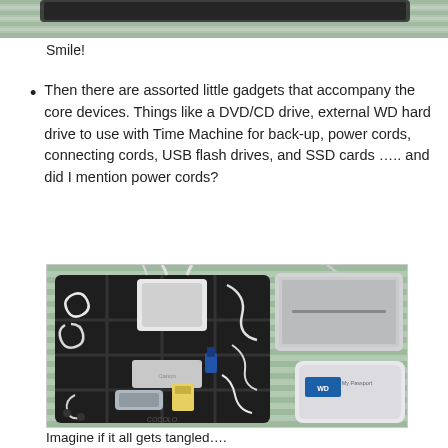[Figure (photo): Top partial photo of an object on a striped textile background, cropped at top of page]
Smile!
Then there are assorted little gadgets that accompany the core devices. Things like a DVD/CD drive, external WD hard drive to use with Time Machine for back-up, power cords, connecting cords, USB flash drives, and SSD cards ….. and did I mention power cords?
[Figure (photo): Photo of a cable organizer/grid board with various cables, power adapters, USB drives, memory cards, and accessories arranged in elastic straps, with an external hard drive and DVD drive placed beside it on a striped textile surface]
Imagine if it all gets tangled….